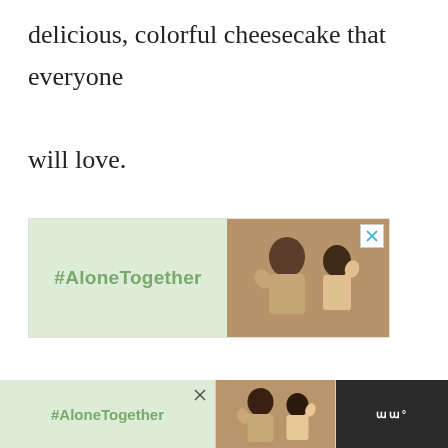delicious, colorful cheesecake that everyone will love.
[Figure (infographic): #AloneTogether advertisement banner showing hashtag on green background alongside photo of smiling man and child waving, with close button in top right corner]
[Figure (infographic): Bottom sticky #AloneTogether advertisement bar with hashtag on green background, photo of man and child, close button, and logo on dark background]